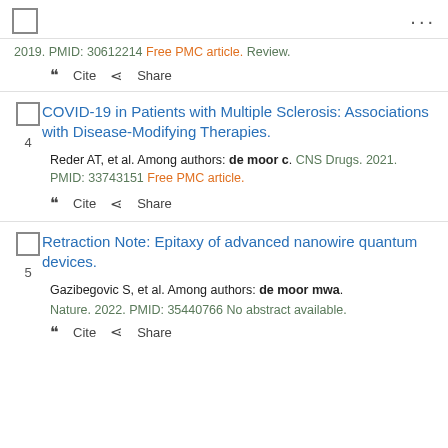... (menu dots)
2019. PMID: 30612214 Free PMC article. Review.
" Cite  < Share
COVID-19 in Patients with Multiple Sclerosis: Associations with Disease-Modifying Therapies.
Reder AT, et al. Among authors: de moor c. CNS Drugs. 2021. PMID: 33743151 Free PMC article.
" Cite  < Share
Retraction Note: Epitaxy of advanced nanowire quantum devices.
Gazibegovic S, et al. Among authors: de moor mwa. Nature. 2022. PMID: 35440766 No abstract available.
" Cite  < Share